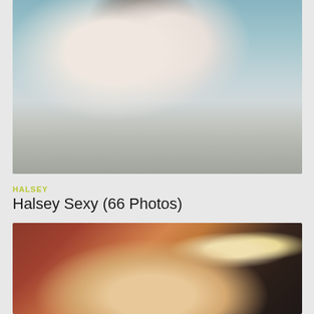[Figure (photo): Paparazzi photo showing a person in a black bikini bottom on what appears to be a boat or yacht deck with metal railings]
HALSEY
Halsey Sexy (66 Photos)
[Figure (photo): Indoor photo of a woman with blonde hair taking a selfie in what appears to be a kitchen or bar area with lights and appliances in background]